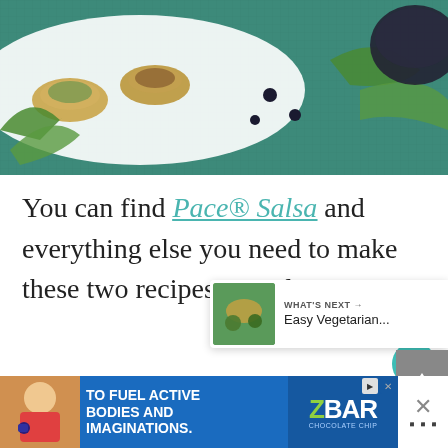[Figure (photo): Food photo showing appetizers/phyllo cups on a white plate with dark olives and green salad on a teal woven placemat background]
You can find Pace® Salsa and everything else you need to make these two recipes at Walmart.
[Figure (infographic): Floating heart (favorite) button - teal circular button with heart icon]
[Figure (infographic): Floating share button - white circular button with share icon]
[Figure (infographic): What's Next panel showing thumbnail and text 'Easy Vegetarian...']
[Figure (screenshot): Advertisement banner: child eating snack, text 'TO FUEL ACTIVE BODIES AND IMAGINATIONS.' with ZBAR product logo]